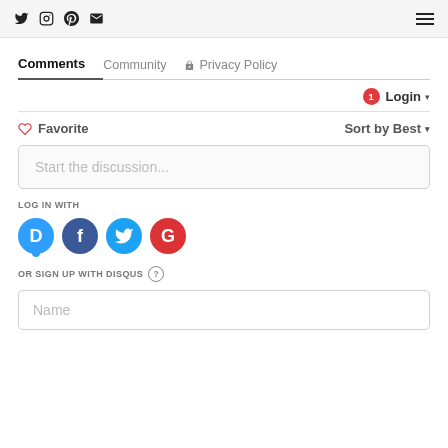Social icons (Twitter, Instagram, Pinterest, Email) and hamburger menu
Comments | Community | Privacy Policy
Login ▾ (with notification badge 1)
♡ Favorite   Sort by Best ▾
Start the discussion...
LOG IN WITH
[Figure (logo): Social login icons: Disqus (D), Facebook (f), Twitter bird, Google (G)]
OR SIGN UP WITH DISQUS ?
Name